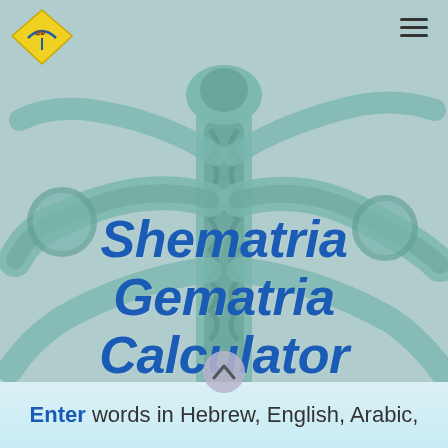[Figure (illustration): Background: a teal/green stylized tree of life or menorah sculpture with branching arms, set against a light grey-blue background. The overall image is muted and semi-transparent.]
[Figure (logo): Top-left logo: a yellow kite or diamond shape with Hebrew letters and a small umbrella icon, in yellow and blue.]
Shematria Gematria Calculator
[Figure (other): Circular scroll-up button with an upward-pointing chevron/triangle, grey circle with dark chevron, positioned above the bottom bar.]
Enter words in Hebrew, English, Arabic,